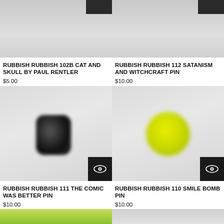[Figure (photo): Product image for Rubbish Rubbish 102b Cat and Skull by Paul Rentler pin, blurred gray background with dark rectangle top-right corner]
RUBBISH RUBBISH 102B CAT AND SKULL BY PAUL RENTLER
$5.00
[Figure (photo): Product image for Rubbish Rubbish 112 Satanism and Witchcraft Pin, blurred gray background with dark rectangle top-right corner]
RUBBISH RUBBISH 112 SATANISM AND WITCHCRAFT PIN
$10.00
[Figure (photo): Product image for Rubbish Rubbish 111 The Comic Was Better Pin, blurred gray background with small black rounded pin shape in center, eye icon button bottom-right]
RUBBISH RUBBISH 111 THE COMIC WAS BETTER PIN
$10.00
[Figure (photo): Product image for Rubbish Rubbish 110 Smile Bomb Pin, blurred gray background with yellow circular pin shape in center, eye icon button bottom-right]
RUBBISH RUBBISH 110 SMILE BOMB PIN
$10.00